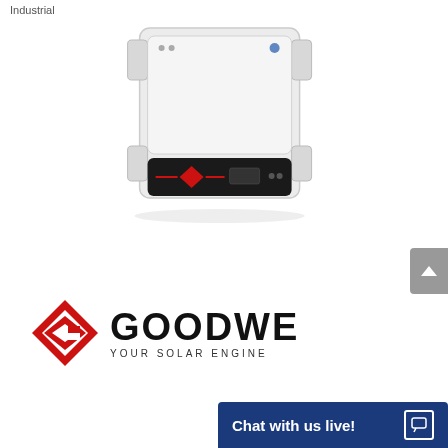Industrial
[Figure (photo): GoodWe solar inverter product photo — a white rectangular wall-mounted unit with a dark control panel at the bottom showing red LED indicators and display]
[Figure (logo): GoodWe brand logo: red diamond-shaped G icon on the left, bold black GOODWE text on the right with tagline YOUR SOLAR ENGINE below]
Chat with us live!